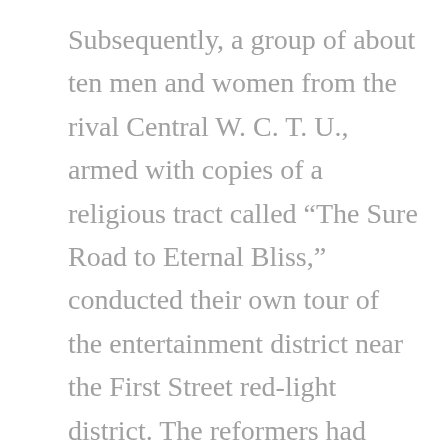Subsequently, a group of about ten men and women from the rival Central W. C. T. U., armed with copies of a religious tract called “The Sure Road to Eternal Bliss,” conducted their own tour of the entertainment district near the First Street red-light district. The reformers had followed the path of the more typical pleasure-seeking clients starting at a saloon that offered live performers as well as alcohol and then moving on to bordellos, although with a different purpose in mind. Their first visit was to